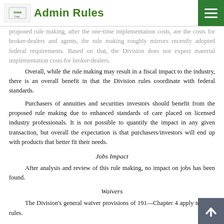Admin Rules
proposed rule making, after the one-time implementation costs, are the costs for broker-dealers and agents, the rule making roughly mirrors recently adopted federal requirements. Based on that, the Division does not expect material implementation costs for broker-dealers.
Overall, while the rule making may result in a fiscal impact to the industry, there is an overall benefit in that the Division rules coordinate with federal standards.
Purchasers of annuities and securities investors should benefit from the proposed rule making due to enhanced standards of care placed on licensed industry professionals. It is not possible to quantify the impact in any given transaction, but overall the expectation is that purchasers/investors will end up with products that better fit their needs.
Jobs Impact
After analysis and review of this rule making, no impact on jobs has been found.
Waivers
The Division's general waiver provisions of 191—Chapter 4 apply to these rules.
Public Comment
Any interested person may submit written or oral comments concerning this proposed rule making. Written or oral comments in response to this rule making must be received by the Division no later than 4 p.m. on April 2, 2020. Comments should be directed to: